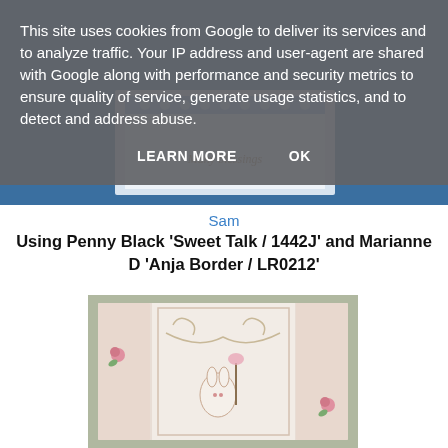This site uses cookies from Google to deliver its services and to analyze traffic. Your IP address and user-agent are shared with Google along with performance and security metrics to ensure quality of service, generate usage statistics, and to detect and address abuse.
LEARN MORE   OK
[Figure (photo): Partial view of a handmade greeting card on blue background, partially obscured by cookie consent overlay]
Sam
Using Penny Black 'Sweet Talk / 1442J' and Marianne D 'Anja Border / LR0212'
[Figure (photo): Handmade crafting card with pink roses, a bunny illustration, decorative border with swirls and draping garlands, cream/white color scheme]